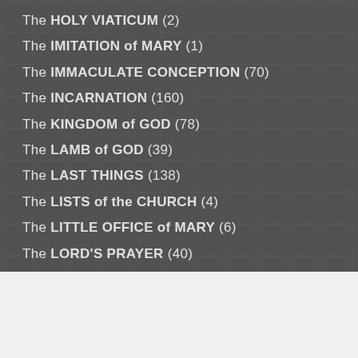The HOLY VIATICUM (2)
The IMITATION of MARY (1)
The IMMACULATE CONCEPTION (70)
The INCARNATION (160)
The KINGDOM of GOD (78)
The LAMB of GOD (39)
The LAST THINGS (138)
The LISTS of the CHURCH (4)
The LITTLE OFFICE of MARY (6)
The LORD'S PRAYER (40)
The MOST HOLY REDEEMER (45)
Advertisements
[Figure (infographic): Seamless food delivery advertisement banner with pizza image, Seamless logo in red, and ORDER NOW button]